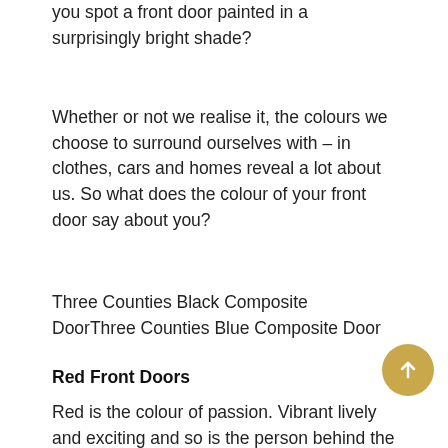you spot a front door painted in a surprisingly bright shade?
Whether or not we realise it, the colours we choose to surround ourselves with – in clothes, cars and homes reveal a lot about us. So what does the colour of your front door say about you?
Three Counties Black Composite DoorThree Counties Blue Composite Door
Red Front Doors
Red is the colour of passion. Vibrant lively and exciting and so is the person behind the door!